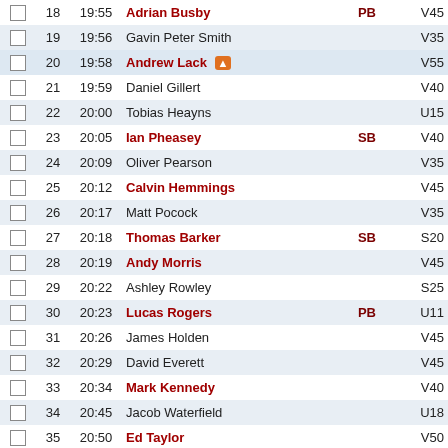|  | # | Time | Name | Badge | Cat |
| --- | --- | --- | --- | --- | --- |
|  | 18 | 19:55 | Adrian Busby | PB | V45 |
|  | 19 | 19:56 | Gavin Peter Smith |  | V35 |
|  | 20 | 19:58 | Andrew Lack 🔥 |  | V55 |
|  | 21 | 19:59 | Daniel Gillert |  | V40 |
|  | 22 | 20:00 | Tobias Heayns |  | U15 |
|  | 23 | 20:05 | Ian Pheasey | SB | V40 |
|  | 24 | 20:09 | Oliver Pearson |  | V35 |
|  | 25 | 20:12 | Calvin Hemmings |  | V45 |
|  | 26 | 20:17 | Matt Pocock |  | V35 |
|  | 27 | 20:18 | Thomas Barker | SB | S20 |
|  | 28 | 20:19 | Andy Morris |  | V45 |
|  | 29 | 20:22 | Ashley Rowley |  | S25 |
|  | 30 | 20:23 | Lucas Rogers | PB | U11 |
|  | 31 | 20:26 | James Holden |  | V45 |
|  | 32 | 20:29 | David Everett |  | V45 |
|  | 33 | 20:34 | Mark Kennedy |  | V40 |
|  | 34 | 20:45 | Jacob Waterfield |  | U18 |
|  | 35 | 20:50 | Ed Taylor |  | V50 |
|  | 36 | 20:55 | Thomas McFadden |  | U15 |
|  | 37 | 20:57 | Jim Conroy |  | V50 |